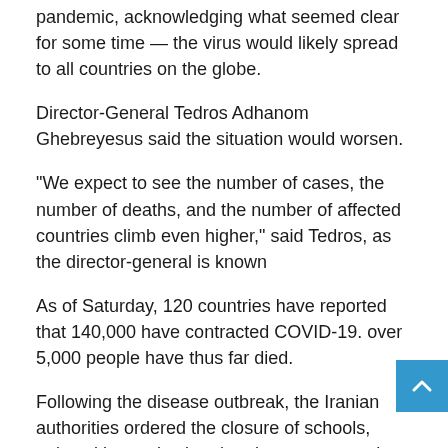pandemic, acknowledging what seemed clear for some time — the virus would likely spread to all countries on the globe.
Director-General Tedros Adhanom Ghebreyesus said the situation would worsen.
“We expect to see the number of cases, the number of deaths, and the number of affected countries climb even higher,” said Tedros, as the director-general is known
As of Saturday, 120 countries have reported that 140,000 have contracted COVID-19. over 5,000 people have thus far died.
Following the disease outbreak, the Iranian authorities ordered the closure of schools, universities and cultural and sports events in a bid to contain the outbreak.
The Iranian Health Minister announced on Saturday that toll...